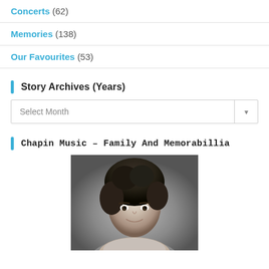Concerts (62)
Memories (138)
Our Favourites (53)
Story Archives (Years)
Select Month
Chapin Music – Family And Memorabillia
[Figure (photo): Black and white portrait photograph of a young man with curly dark hair, slight smile, wearing a light shirt]